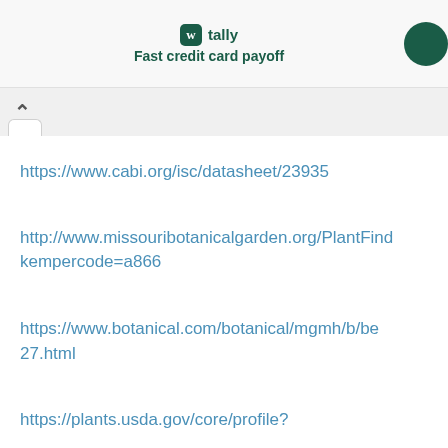tally Fast credit card payoff
https://www.cabi.org/isc/datasheet/23935
http://www.missouribotanicalgarden.org/PlantFinder/...kempercode=a866
https://www.botanical.com/botanical/mgmh/b/be...27.html
https://plants.usda.gov/core/profile?